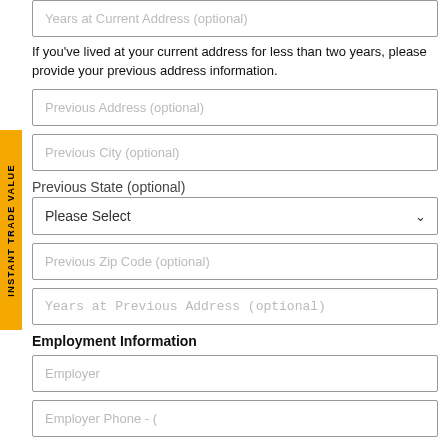Years at Current Address (optional)
If you've lived at your current address for less than two years, please provide your previous address information.
Previous Address (optional)
Previous City (optional)
Previous State (optional) — Please Select
Previous Zip Code (optional)
Years at Previous Address (optional)
Employment Information
Employer
Employer Phone - (   )   -